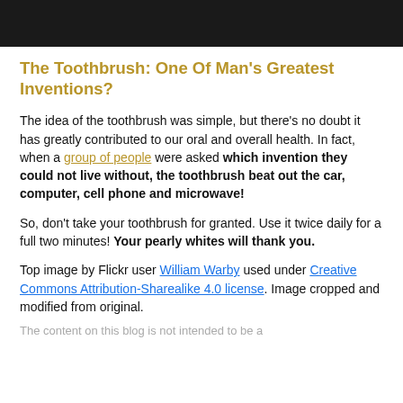[Figure (photo): Black header bar at top of page]
The Toothbrush: One Of Man's Greatest Inventions?
The idea of the toothbrush was simple, but there's no doubt it has greatly contributed to our oral and overall health. In fact, when a group of people were asked which invention they could not live without, the toothbrush beat out the car, computer, cell phone and microwave!
So, don't take your toothbrush for granted. Use it twice daily for a full two minutes! Your pearly whites will thank you.
Top image by Flickr user William Warby used under Creative Commons Attribution-Sharealike 4.0 license. Image cropped and modified from original.
The content on this blog is not intended to be a